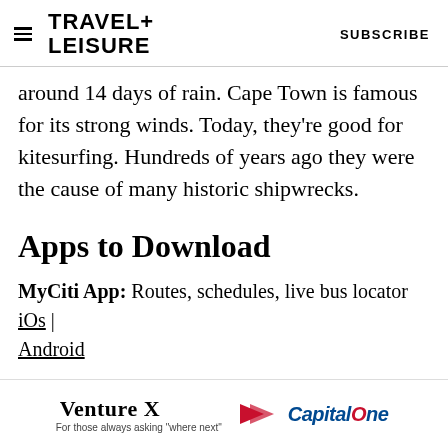TRAVEL+ LEISURE   SUBSCRIBE
around 14 days of rain. Cape Town is famous for its strong winds. Today, they're good for kitesurfing. Hundreds of years ago they were the cause of many historic shipwrecks.
Apps to Download
MyCiti App: Routes, schedules, live bus locator iOs | Android
Uber: Ridesharing, food delivery iOs | Android
[Figure (other): Capital One Venture X advertisement banner: 'Venture X > CapitalOne For those always asking where next']